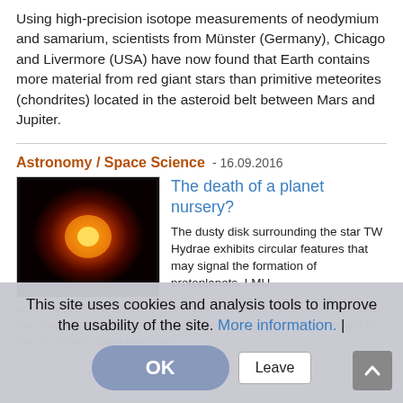Using high-precision isotope measurements of neodymium and samarium, scientists from Münster (Germany), Chicago and Livermore (USA) have now found that Earth contains more material from red giant stars than primitive meteorites (chondrites) located in the asteroid belt between Mars and Jupiter.
Astronomy / Space Science - 16.09.2016
[Figure (photo): Image of a glowing orange-red star or planet-forming disk against a black background, showing a bright yellow-orange center fading to red at the edges.]
The death of a planet nursery?
The dusty disk surrounding the star TW Hydrae exhibits circular features that may signal the formation of protoplanets. LMU astrophysicist Paola Pinilla is studying the innermost regions of the disk, including the innermost ring of the disk. When the maps appeared at the end of March, experts were electrified.
This site uses cookies and analysis tools to improve the usability of the site. More information. |